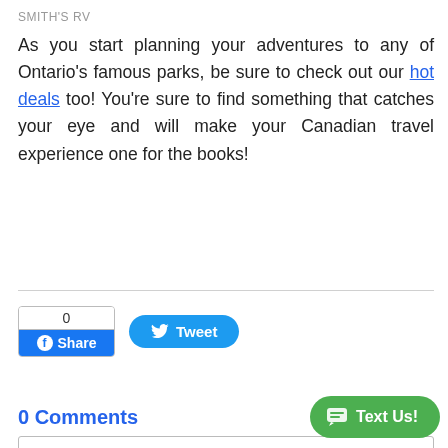SMITH'S RV
As you start planning your adventures to any of Ontario's famous parks, be sure to check out our hot deals too! You're sure to find something that catches your eye and will make your Canadian travel experience one for the books!
[Figure (screenshot): Facebook Share button showing count of 0 and a Tweet button]
0 Comments
Join the discussion...
RECENT POSTS
[Figure (screenshot): Green 'Text Us!' chat bubble button in bottom right corner]